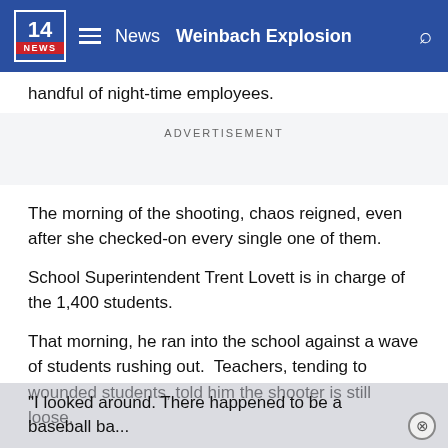14 NEWS  ≡  News  Weinbach Explosion
handful of night-time employees.
ADVERTISEMENT
The morning of the shooting, chaos reigned, even after she checked-on every single one of them.
School Superintendent Trent Lovett is in charge of the 1,400 students.
That morning, he ran into the school against a wave of students rushing out.  Teachers, tending to wounded students, told him the shooter is still loose.
"I looked around. There happened to be a baseball ba...